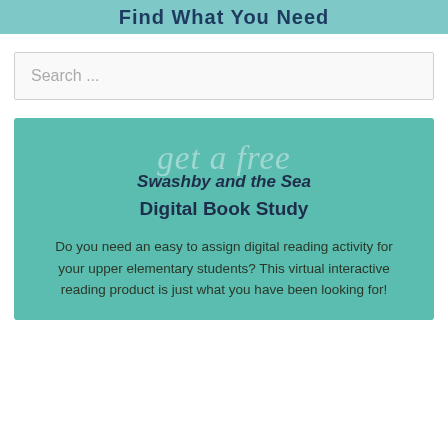Find What You Need
Search ...
[Figure (infographic): Teal promotional box with decorative script text 'get a free' overlaid, followed by bold title 'Swashby and the Sea Digital Book Study' and body text describing a digital reading activity product for upper elementary students.]
get a free
Swashby and the Sea Digital Book Study
Do you need an easy to assign digital reading activity for your upper elementary students? This virtual interactive reading product is just what you have been looking for!